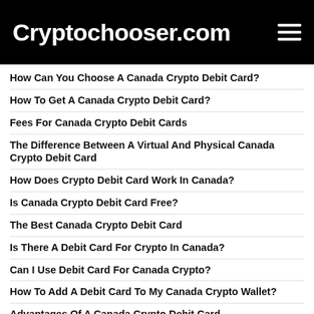Cryptochooser.com
How Can You Choose A Canada Crypto Debit Card?
How To Get A Canada Crypto Debit Card?
Fees For Canada Crypto Debit Cards
The Difference Between A Virtual And Physical Canada Crypto Debit Card
How Does Crypto Debit Card Work In Canada?
Is Canada Crypto Debit Card Free?
The Best Canada Crypto Debit Card
Is There A Debit Card For Crypto In Canada?
Can I Use Debit Card For Canada Crypto?
How To Add A Debit Card To My Canada Crypto Wallet?
Advantages Of A Canada Crypto Debit Card
Using Canada Crypto For Everyday Purchases
Effortless Integration Between Canada Cryptocurrencies And Fiat Currencies
Disadvantages Of A Canada Crypto Debit Card